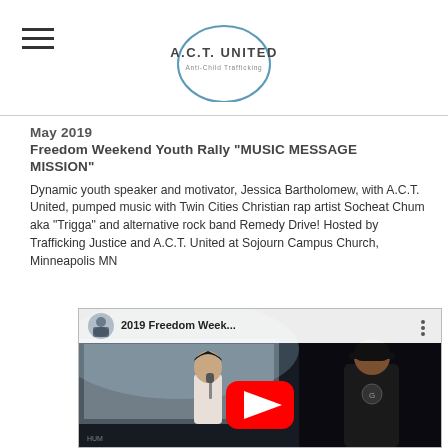A.C.T. UNITED — Anti-Child Trafficking (logo)
May 2019
Freedom Weekend Youth Rally "MUSIC MESSAGE MISSION"
Dynamic youth speaker and motivator, Jessica Bartholomew, with A.C.T. United, pumped music with Twin Cities Christian rap artist Socheat Chum aka "Trigga" and alternative rock band Remedy Drive! Hosted by Trafficking Justice and A.C.T. United at Sojourn Campus Church, Minneapolis MN
[Figure (screenshot): YouTube video thumbnail showing '2019 Freedom Week...' with a red YouTube play button overlay, and performers on stage including a woman singing into a microphone and a man in a black t-shirt. A circular avatar of a woman appears in the top-left corner of the video frame.]